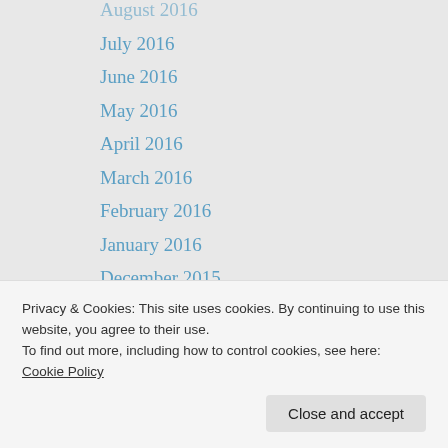August 2016
July 2016
June 2016
May 2016
April 2016
March 2016
February 2016
January 2016
December 2015
November 2015
October 2015
August 2015
July 2015
June 2015
May 2015
Privacy & Cookies: This site uses cookies. By continuing to use this website, you agree to their use.
To find out more, including how to control cookies, see here: Cookie Policy
September 2014
August 2014